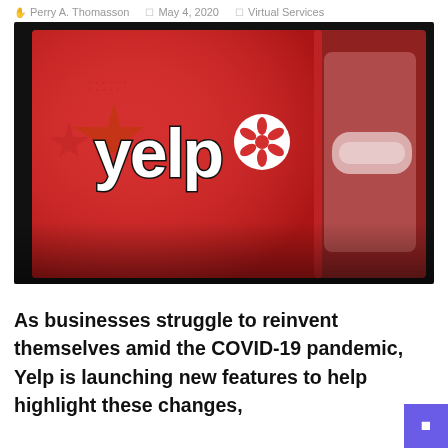Perry A. Thomasson   May 4, 2020   Virtual Services
[Figure (photo): Close-up photo of the Yelp app logo on a red smartphone screen, showing the yelp burst logo in white and black text on a red background, with a blurred second phone in the right background.]
As businesses struggle to reinvent themselves amid the COVID-19 pandemic, Yelp is launching new features to help highlight these changes,